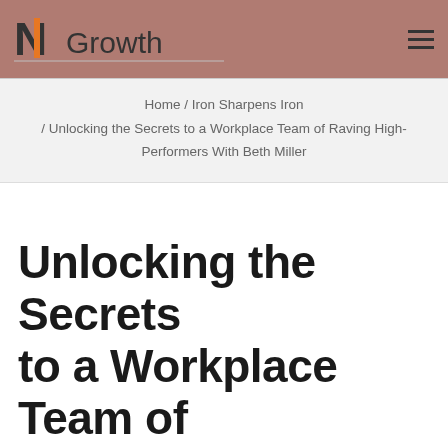[Figure (logo): NGrowth logo with stylized N and orange bar, followed by 'Growth' text in dark gray]
Home / Iron Sharpens Iron / Unlocking the Secrets to a Workplace Team of Raving High-Performers With Beth Miller
Unlocking the Secrets to a Workplace Team of Raving High-
[Figure (infographic): Social share bar with WhatsApp, Twitter, Facebook (count: 5), LinkedIn, and Email buttons]